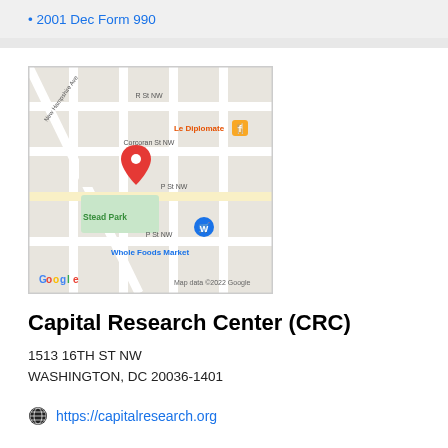2001 Dec Form 990
[Figure (map): Google Maps screenshot showing the location of 1513 16th St NW, Washington DC near Stead Park, with nearby landmarks including Le Diplomate restaurant and Whole Foods Market. A red location pin marks the site. Map data ©2022 Google.]
Capital Research Center (CRC)
1513 16TH ST NW
WASHINGTON, DC 20036-1401
https://capitalresearch.org